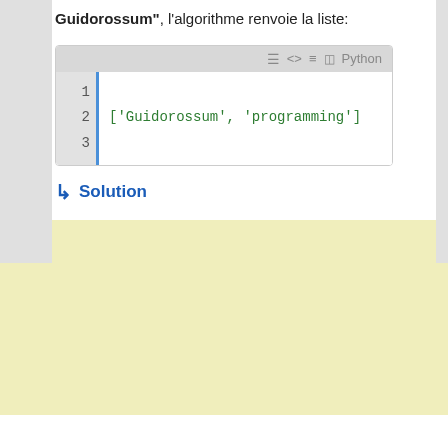Guidorossum", l'algorithme renvoie la liste:
[Figure (screenshot): Python code block showing: line 1 empty, line 2: ['Guidorossum', 'programming'], line 3 empty. Has toolbar with Python label and icons.]
↳ Solution